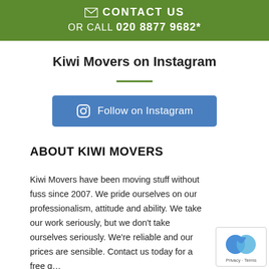✉ CONTACT US
OR CALL 020 8877 9682*
Kiwi Movers on Instagram
[Figure (other): Green horizontal divider line]
[Figure (other): Blue 'Follow on Instagram' button with Instagram icon]
ABOUT KIWI MOVERS
Kiwi Movers have been moving stuff without fuss since 2007. We pride ourselves on our professionalism, attitude and ability. We take our work seriously, but we don't take ourselves seriously. We're reliable and our prices are sensible. Contact us today for a free q…